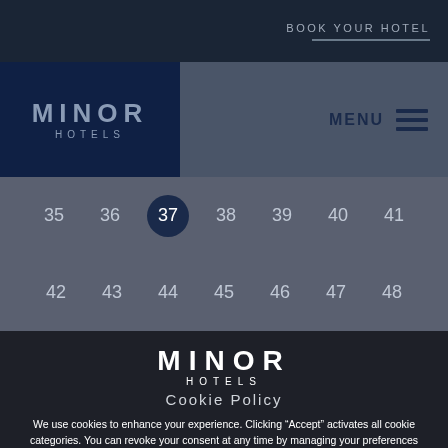BOOK YOUR HOTEL
[Figure (logo): Minor Hotels logo in navy navigation bar]
MENU
35 36 37 38 39 40 41
42 43 44 45 46 47 48
[Figure (logo): Minor Hotels logo in white on dark background]
Cookie Policy
We use cookies to enhance your experience. Clicking “Accept” activates all cookie categories. You can revoke your consent at any time by managing your preferences here. For more information see our Privacy Statement.
ACCEPT →